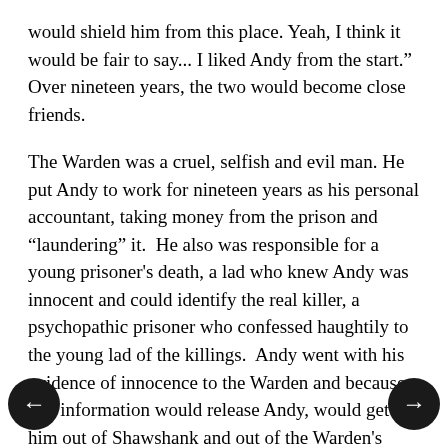would shield him from this place. Yeah, I think it would be fair to say... I liked Andy from the start."  Over nineteen years, the two would become close friends.
The Warden was a cruel, selfish and evil man. He put Andy to work for nineteen years as his personal accountant, taking money from the prison and "laundering" it.  He also was responsible for a young prisoner's death, a lad who knew Andy was innocent and could identify the real killer, a psychopathic prisoner who confessed haughtily to the young lad of the killings.  Andy went with his evidence of innocence to the Warden and because this information would release Andy, would get him out of Shawshank and out of the Warden's "laundering" job, the lad was killed and Andy